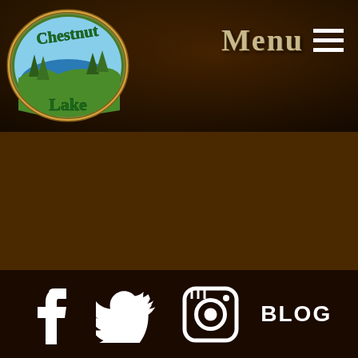[Figure (logo): Chestnut Lake oval logo with green script text and lake/tree illustration]
Menu ≡
[Figure (infographic): Dark brown background main content area, empty]
Facebook icon, Twitter icon, Instagram icon, BLOG